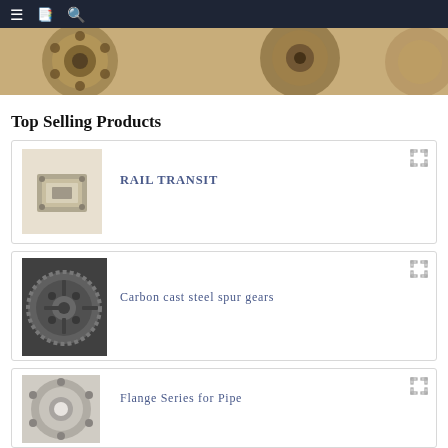≡  🖹  🔍
[Figure (photo): Close-up photo of industrial flanges (circular metal pipe fittings) in warm bronze/gold tones]
Top Selling Products
[Figure (photo): Rail transit component — metal bracket/mounting plate with bolts]
RAIL TRANSIT
[Figure (photo): Carbon cast steel spur gear — large toothed metal gear wheel]
Carbon cast steel spur gears
[Figure (photo): Flange series for pipe — circular metal pipe flange fitting]
Flange Series for Pipe